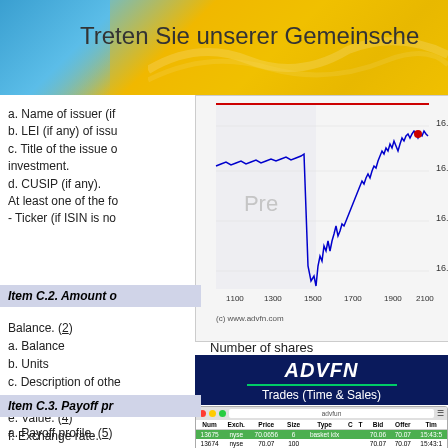Treten Sie unserer Gemeinsche
a. Name of issuer (if
b. LEI (if any) of issu
c. Title of the issue o investment.
d. CUSIP (if any).
At least one of the fo
- Ticker (if ISIN is no
[Figure (continuous-plot): Line chart showing price data from approximately 1100 to 2100 on x-axis, price range 16.3 to 16.45 on y-axis, with a sharp drop around 1500-1600 and recovery. Source: (c) www.advfn.com]
Item C.2. Amount o
Balance. (2)
a. Balance
b. Units
c. Description of othe
d. Currency. (3)
e. Value. (4)
f. Exchange rate.
g. Percentage value the Fund.
Number of shares
[Figure (screenshot): ADVFN Trades (Time & Sales) screenshot showing a table with columns Num, Exch., Price, Size, Type, C, T, Bid, Offer, Tim. Rows include trade data for NYSE at prices around 70.06-70.07.]
Item C.3. Payoff pr
a. Payoff profile. (5)